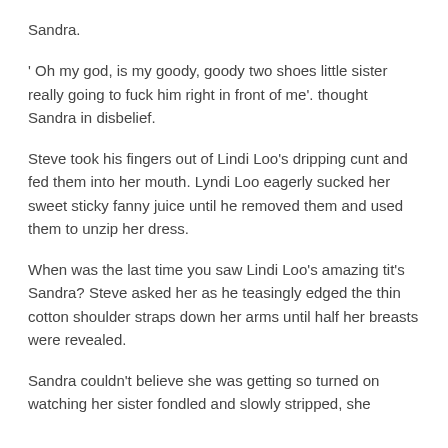Sandra.
' Oh my god, is my goody, goody two shoes little sister really going to fuck him right in front of me'. thought Sandra in disbelief.
Steve took his fingers out of Lindi Loo's dripping cunt and fed them into her mouth. Lyndi Loo eagerly sucked her sweet sticky fanny juice until he removed them and used them to unzip her dress.
When was the last time you saw Lindi Loo's amazing tit's Sandra? Steve asked her as he teasingly edged the thin cotton shoulder straps down her arms until half her breasts were revealed.
Sandra couldn't believe she was getting so turned on watching her sister fondled and slowly stripped, she